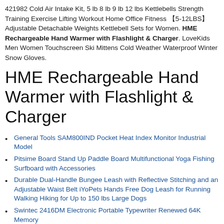421982 Cold Air Intake Kit, 5 lb 8 lb 9 lb 12 lbs Kettlebells Strength Training Exercise Lifting Workout Home Office Fitness 【5-12LBS】 Adjustable Detachable Weights Kettlebell Sets for Women. HME Rechargeable Hand Warmer with Flashlight & Charger. LoveKids Men Women Touchscreen Ski Mittens Cold Weather Waterproof Winter Snow Gloves.
HME Rechargeable Hand Warmer with Flashlight & Charger
General Tools SAM800IND Pocket Heat Index Monitor Industrial Model
Pitsime Board Stand Up Paddle Board Multifunctional Yoga Fishing Surfboard with Accessories
Durable Dual-Handle Bungee Leash with Reflective Stitching and an Adjustable Waist Belt iYoPets Hands Free Dog Leash for Running Walking Hiking for Up to 150 lbs Large Dogs
Swintec 2416DM Electronic Portable Typewriter Renewed 64K Memory